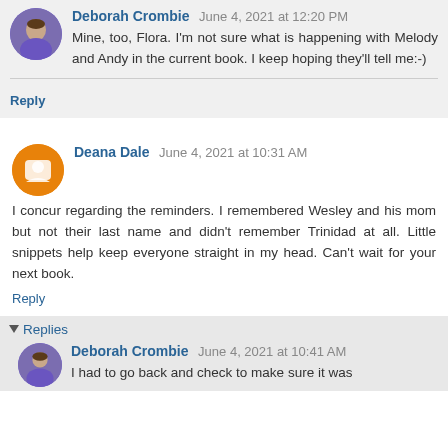Deborah Crombie  June 4, 2021 at 12:20 PM
Mine, too, Flora. I'm not sure what is happening with Melody and Andy in the current book. I keep hoping they'll tell me:-)
Reply
Deana Dale  June 4, 2021 at 10:31 AM
I concur regarding the reminders. I remembered Wesley and his mom but not their last name and didn't remember Trinidad at all. Little snippets help keep everyone straight in my head. Can't wait for your next book.
Reply
Replies
Deborah Crombie  June 4, 2021 at 10:41 AM
I had to go back and check to make sure it was